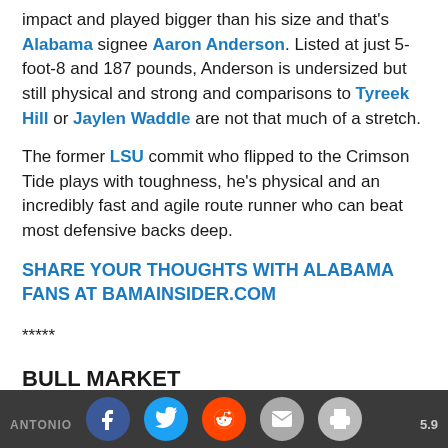impact and played bigger than his size and that's Alabama signee Aaron Anderson. Listed at just 5-foot-8 and 187 pounds, Anderson is undersized but still physical and strong and comparisons to Tyreek Hill or Jaylen Waddle are not that much of a stretch.
The former LSU commit who flipped to the Crimson Tide plays with toughness, he's physical and an incredibly fast and agile route runner who can beat most defensive backs deep.
SHARE YOUR THOUGHTS WITH ALABAMA FANS AT BAMAINSIDER.COM
*****
BULL MARKET
ANTONIO   [social icons: Facebook, Twitter, Reddit, Email, Print]   5.9